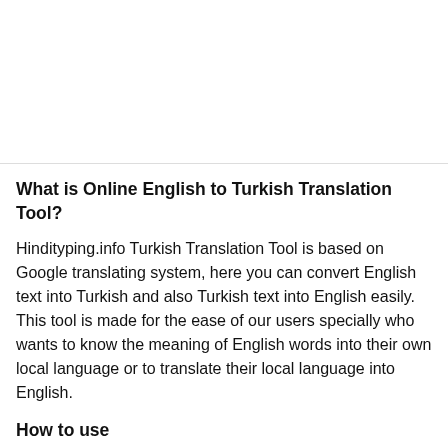What is Online English to Turkish Translation Tool?
Hindityping.info Turkish Translation Tool is based on Google translating system, here you can convert English text into Turkish and also Turkish text into English easily. This tool is made for the ease of our users specially who wants to know the meaning of English words into their own local language or to translate their local language into English.
How to use